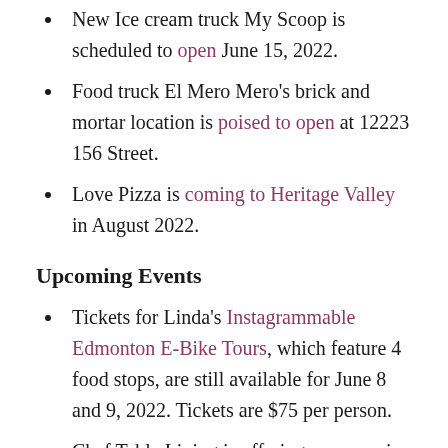New Ice cream truck My Scoop is scheduled to open June 15, 2022.
Food truck El Mero Mero's brick and mortar location is poised to open at 12223 156 Street.
Love Pizza is coming to Heritage Valley in August 2022.
Upcoming Events
Tickets for Linda's Instagrammable Edmonton E-Bike Tours, which feature 4 food stops, are still available for June 8 and 9, 2022. Tickets are $75 per person.
Chef Table Living is offering a new series of Brewery and Distillery Bike Tours, running Friday evenings from June 17 to September 2, 2022.